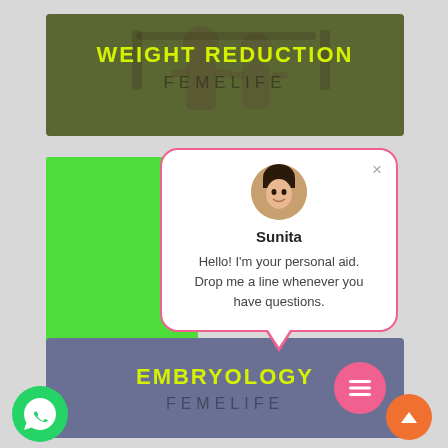[Figure (screenshot): Top banner with olive/green background showing fitness silhouette, text WEIGHT REDUCTION and FEMELIFE]
WEIGHT REDUCTION
FEMELIFE
[Figure (screenshot): Chat popup with avatar of Sunita, name Sunita, message: Hello! I'm your personal aid. Drop me a line whenever you have questions.]
Sunita
Hello! I'm your personal aid. Drop me a line whenever you have questions.
[Figure (screenshot): Bottom banner with blue-grey background, text EMBRYOLOGY and FEMELIFE, pink menu button, orange up-arrow button]
EMBRYOLOGY
FEMELIFE